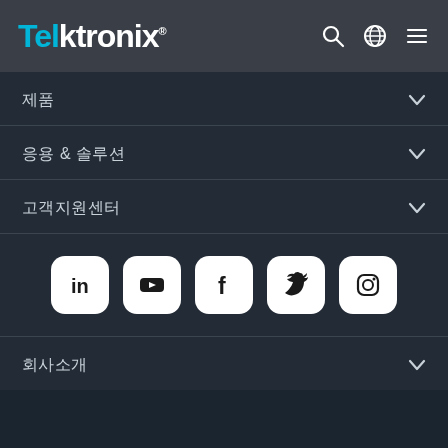Tektronix
제품
응용  &  솔루션
고객지원센터
[Figure (infographic): Social media icons row: LinkedIn, YouTube, Facebook, Twitter, Instagram — white rounded square buttons on dark background]
회사소개